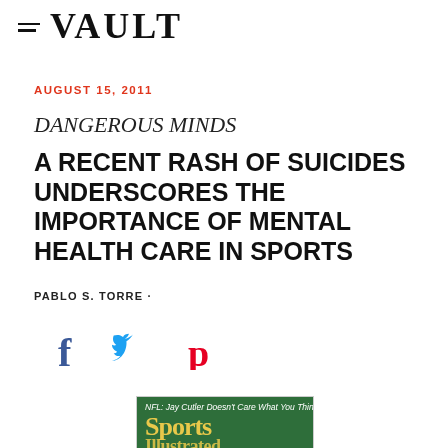VAULT
AUGUST 15, 2011
DANGEROUS MINDS
A RECENT RASH OF SUICIDES UNDERSCORES THE IMPORTANCE OF MENTAL HEALTH CARE IN SPORTS
PABLO S. TORRE ·
[Figure (infographic): Social media share icons: Facebook (f), Twitter (bird), Pinterest (p)]
[Figure (photo): Sports Illustrated magazine cover with text 'NFL: Jay Cutler Doesn't Care What You Think' and 'Sports Illustrated' masthead on green background]